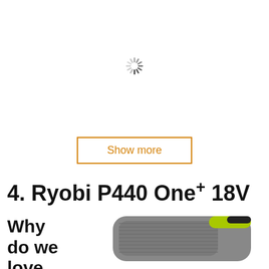[Figure (other): Loading spinner (circular throbber) centered in blank upper area]
Show more
4. Ryobi P440 One+ 18V
Why do we love
[Figure (photo): Partial photo of a Ryobi P440 One+ 18V cordless tool with green and grey color scheme, cropped at right edge]